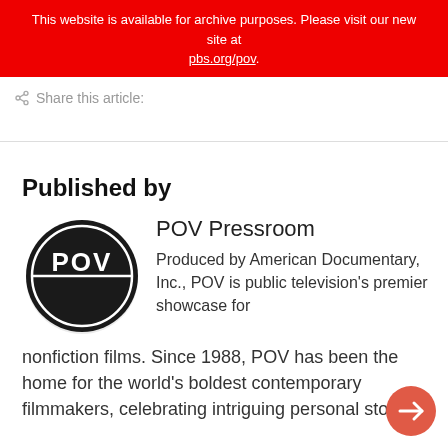This website is available for archive purposes. Please visit our new site at pbs.org/pov.
Share this article:
Published by
[Figure (logo): POV logo: black circle with white POV text and a horizontal line through the middle]
POV Pressroom
Produced by American Documentary, Inc., POV is public television's premier showcase for nonfiction films. Since 1988, POV has been the home for the world's boldest contemporary filmmakers, celebrating intriguing personal stories